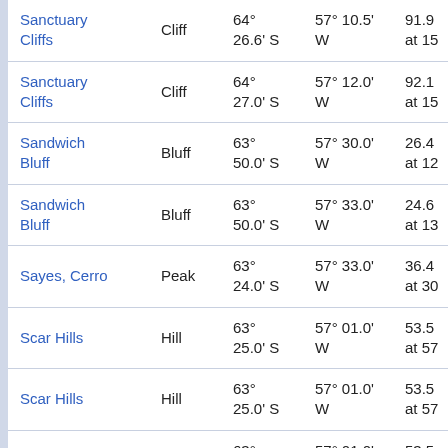| Name | Type | Latitude | Longitude | Elev/Other |
| --- | --- | --- | --- | --- |
| Sanctuary Cliffs | Cliff | 64° 26.6' S | 57° 10.5' W | 91.9 at 15 |
| Sanctuary Cliffs | Cliff | 64° 27.0' S | 57° 12.0' W | 92.1 at 15 |
| Sandwich Bluff | Bluff | 63° 50.0' S | 57° 30.0' W | 26.4 at 12 |
| Sandwich Bluff | Bluff | 63° 50.0' S | 57° 33.0' W | 24.6 at 13 |
| Sayes, Cerro | Peak | 63° 24.0' S | 57° 33.0' W | 36.4 at 30 |
| Scar Hills | Hill | 63° 25.0' S | 57° 01.0' W | 53.5 at 57 |
| Scar Hills | Hill | 63° 25.0' S | 57° 01.0' W | 53.5 at 57 |
| Scar, cerros | Hill | 63° 25.0' S | 57° 01.0' W | 53.5 at 57 |